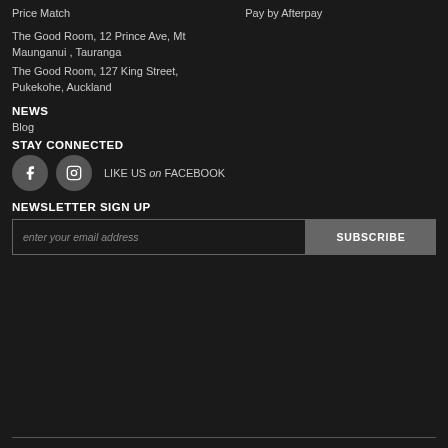Price Match
Pay by Afterpay
The Good Room, 12 Prince Ave, Mt Maunganui , Tauranga
The Good Room, 127 King Street, Pukekohe, Auckland
NEWS
Blog
STAY CONNECTED
LIKE US on FACEBOOK
NEWSLETTER SIGN UP
enter your email address
SUBSCRIBE